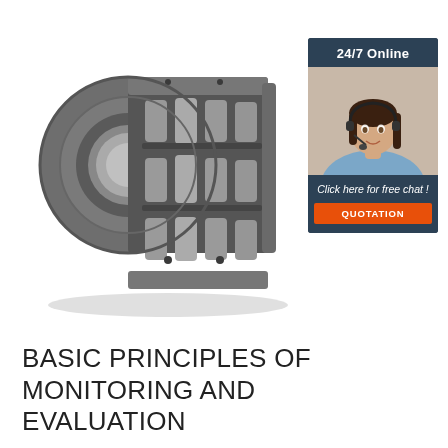[Figure (illustration): 3D rendered image of a cylindrical roller bearing with segmented outer ring and roller elements visible, shown in dark gray metallic finish]
[Figure (illustration): Sidebar advertisement panel with '24/7 Online' header in dark navy blue, photo of a smiling woman wearing a headset/microphone, text 'Click here for free chat!' and an orange 'QUOTATION' button]
BASIC PRINCIPLES OF MONITORING AND EVALUATION